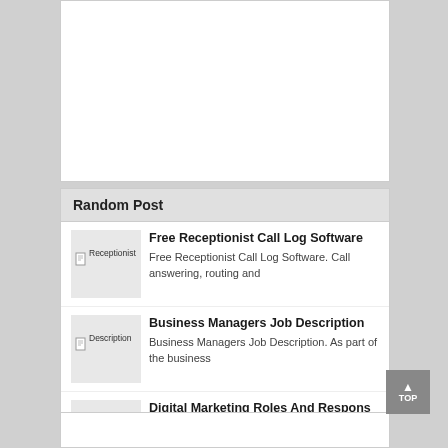Random Post
Free Receptionist Call Log Software — Free Receptionist Call Log Software. Call answering, routing and
Business Managers Job Description — Business Managers Job Description. As part of the business
Digital Marketing Roles And Respons — Digital Marketing Roles And Responsibilities. The digital marketing manager
Artwork License Agreement Template — Artwork License Agreement Template. Decide whether the license is